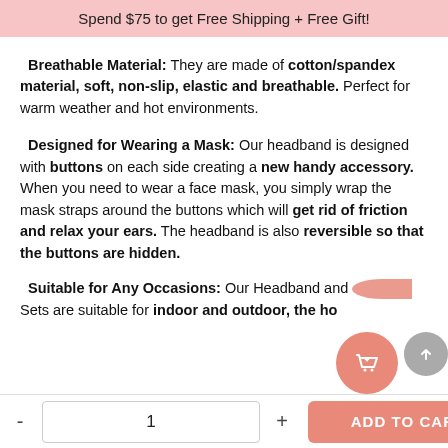Spend $75 to get Free Shipping + Free Gift!
Breathable Material: They are made of cotton/spandex material, soft, non-slip, elastic and breathable. Perfect for warm weather and hot environments.
Designed for Wearing a Mask: Our headband is designed with buttons on each side creating a new handy accessory. When you need to wear a face mask, you simply wrap the mask straps around the buttons which will get rid of friction and relax your ears. The headband is also reversible so that the buttons are hidden.
Suitable for Any Occasions: Our Headband and Sets are suitable for indoor and outdoor, the ho...